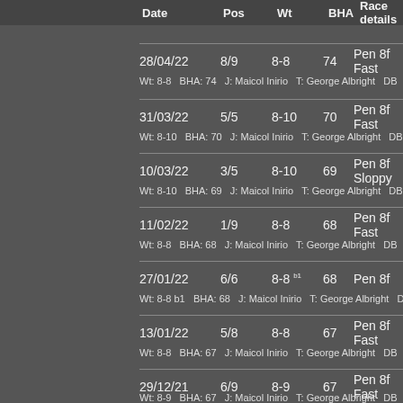Date  Pos  Wt  BHA  Race details
28/04/22  8/9  8-8  74  Pen 8f Fast
Wt: 8-8  BHA: 74  J: Maicol Inirio  T: George Albright  DB
31/03/22  5/5  8-10  70  Pen 8f Fast
Wt: 8-10  BHA: 70  J: Maicol Inirio  T: George Albright  DB
10/03/22  3/5  8-10  69  Pen 8f Sloppy
Wt: 8-10  BHA: 69  J: Maicol Inirio  T: George Albright  DB
11/02/22  1/9  8-8  68  Pen 8f Fast
Wt: 8-8  BHA: 68  J: Maicol Inirio  T: George Albright  DB
27/01/22  6/6  8-8 b1  68  Pen 8f
Wt: 8-8 b1  BHA: 68  J: Maicol Inirio  T: George Albright  D
13/01/22  5/8  8-8  67  Pen 8f Fast
Wt: 8-8  BHA: 67  J: Maicol Inirio  T: George Albright  DB
29/12/21  6/9  8-9  67  Pen 8f Fast
Wt: 8-9  BHA: 67  J: Maicol Inirio  T: George Albright  DB